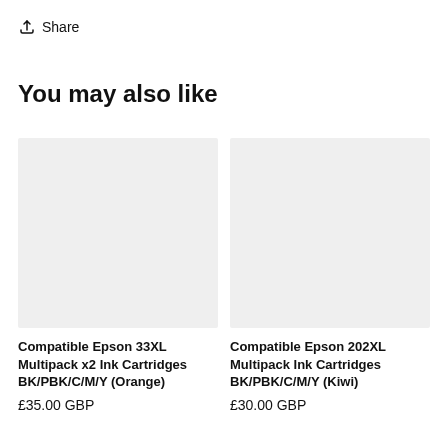Share
You may also like
[Figure (photo): Placeholder image for Compatible Epson 33XL Multipack x2 Ink Cartridges BK/PBK/C/M/Y (Orange)]
Compatible Epson 33XL Multipack x2 Ink Cartridges BK/PBK/C/M/Y (Orange)
£35.00 GBP
[Figure (photo): Placeholder image for Compatible Epson 202XL Multipack Ink Cartridges BK/PBK/C/M/Y (Kiwi)]
Compatible Epson 202XL Multipack Ink Cartridges BK/PBK/C/M/Y (Kiwi)
£30.00 GBP